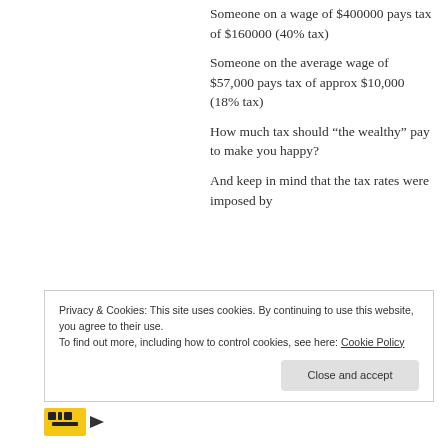Someone on a wage of $400000 pays tax of $160000 (40% tax)
Someone on the average wage of $57,000 pays tax of approx $10,000 (18% tax)
How much tax should “the wealthy” pay to make you happy?
And keep in mind that the tax rates were imposed by
Privacy & Cookies: This site uses cookies. By continuing to use this website, you agree to their use.
To find out more, including how to control cookies, see here: Cookie Policy
Close and accept